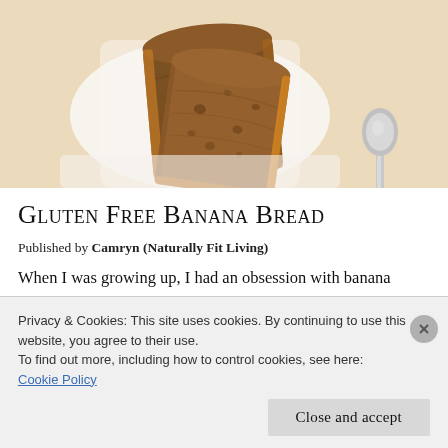[Figure (photo): Photo of sliced gluten free banana bread on a white plate, with a silver spoon visible on the right side, warm beige/cream background.]
Gluten Free Banana Bread
Published by Camryn (Naturally Fit Living)
When I was growing up, I had an obsession with banana
Privacy & Cookies: This site uses cookies. By continuing to use this website, you agree to their use.
To find out more, including how to control cookies, see here:
Cookie Policy
Close and accept